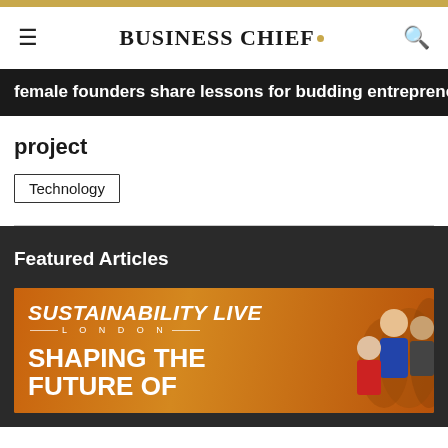BUSINESS CHIEF.
female founders share lessons for budding entrepreneurs
project
Technology
Featured Articles
[Figure (photo): Sustainability Live London - Shaping the Future Of... promotional banner with crowd of people on orange background]